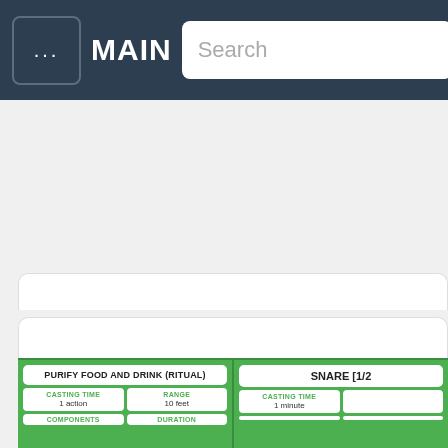... MAIN | Search | ≡
[Figure (screenshot): App interface with two spell cards at the bottom: PURIFY FOOD AND DRINK (RITUAL) and SNARE [1/2], each showing CASTING TIME, RANGE, COMPONENTS, DURATION fields in a green card layout]
PURIFY FOOD AND DRINK (RITUAL)
CASTING TIME
1 action
RANGE
10 feet
COMPONENTS
SNARE [1/2]
CASTING TIME
1 minute